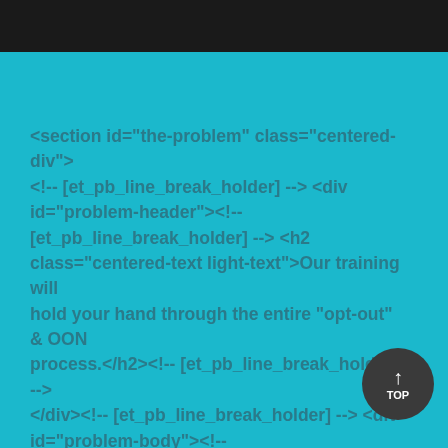[Figure (screenshot): Black bar at top of page, appears to be a cropped image/header area]
<section id="the-problem" class="centered-div"><!-- [et_pb_line_break_holder] --> <div id="problem-header"><!-- [et_pb_line_break_holder] --> <h2 class="centered-text light-text">Our training will hold your hand through the entire "opt-out" & OON process.</h2><!-- [et_pb_line_break_holder] --> </div><!-- [et_pb_line_break_holder] --> <div id="problem-body"><!-- [et_pb_line_break_holder] --> <p class="pb-para centered-text light-text">Best of all — <strong>it's 100% free </strong></p><!-- [et_pb_line_break_holder] --> <p class="pb-para centered-text light-text last-para">Pivotal Group members enjoy the ability opt-out & go out-of-network profitably & <strong>confusion-free</strong>. We'll hold your